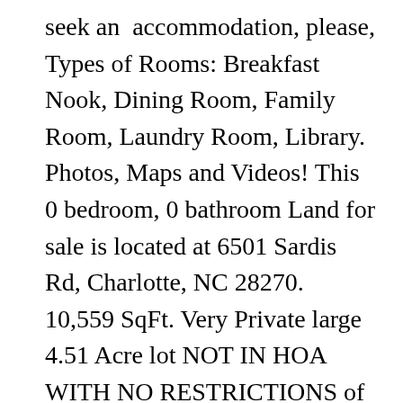seek an accommodation, please, Types of Rooms: Breakfast Nook, Dining Room, Family Room, Laundry Room, Library. Photos, Maps and Videos! This 0 bedroom, 0 bathroom Land for sale is located at 6501 Sardis Rd, Charlotte, NC 28270. 10,559 SqFt. Very Private large 4.51 Acre lot NOT IN HOA WITH NO RESTRICTIONS of GUESTS, SOCIAL PARTIES, FUND RAISING EVENTS. Learn more about this Single Family Home located at 6501-a Sardis Road # #2 which has 6 Beds, 6.5 Baths, 10,559 Square Feet and has been on the market for 352 Days. 6501A Sardis Rd, Charlotte, NC 28270 This beautiful 6 bedroom, 7 bathroom, single-family home in North Carolina was originally